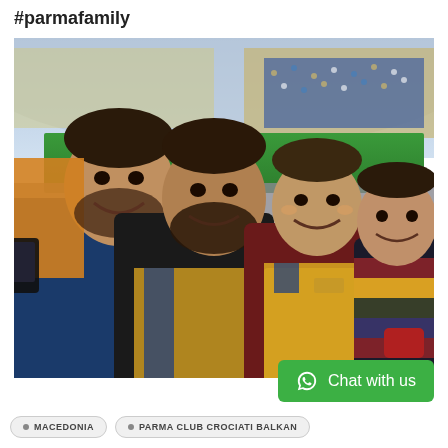#parmafamily
[Figure (photo): Selfie of four men smiling in a football stadium. The men are wearing Parma FC scarves and club gear. The stadium background shows packed stands with blue and yellow fan displays and green pitch visible.]
Chat with us
MACEDONIA
PARMA CLUB CROCIATI BALKAN